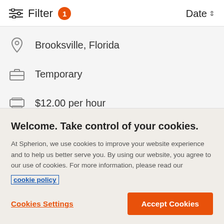Filter 1   Date
Brooksville, Florida
Temporary
$12.00 per hour
Various Shifts Available
Welcome. Take control of your cookies.
At Spherion, we use cookies to improve your website experience and to help us better serve you. By using our website, you agree to our use of cookies. For more information, please read our cookie policy
Cookies Settings   Accept Cookies